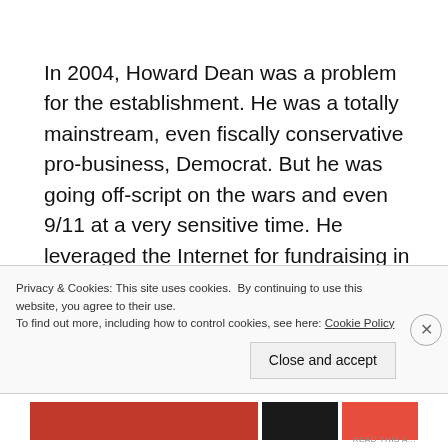In 2004, Howard Dean was a problem for the establishment. He was a totally mainstream, even fiscally conservative pro-business, Democrat. But he was going off-script on the wars and even 9/11 at a very sensitive time. He leveraged the Internet for fundraising in ways that had not really been done before, allowing him to run his campaign without the typical big donors and outside of the mass media
Privacy & Cookies: This site uses cookies. By continuing to use this website, you agree to their use.
To find out more, including how to control cookies, see here: Cookie Policy

Close and accept